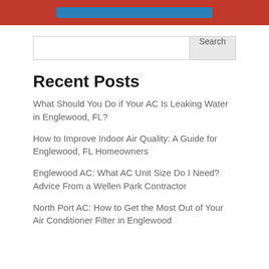[Figure (other): Red banner with a blue button/element inside]
Search
Recent Posts
What Should You Do if Your AC Is Leaking Water in Englewood, FL?
How to Improve Indoor Air Quality: A Guide for Englewood, FL Homeowners
Englewood AC: What AC Unit Size Do I Need? Advice From a Wellen Park Contractor
North Port AC: How to Get the Most Out of Your Air Conditioner Filter in Englewood